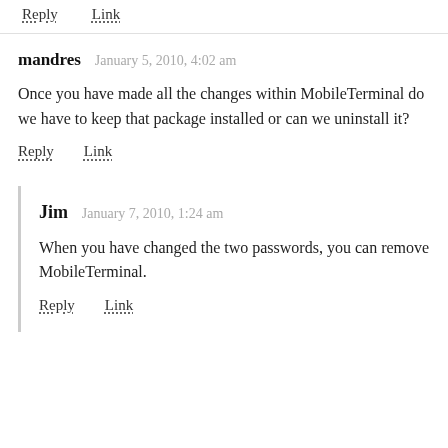Reply   Link
mandres   January 5, 2010, 4:02 am
Once you have made all the changes within MobileTerminal do we have to keep that package installed or can we uninstall it?
Reply   Link
Jim   January 7, 2010, 1:24 am
When you have changed the two passwords, you can remove MobileTerminal.
Reply   Link